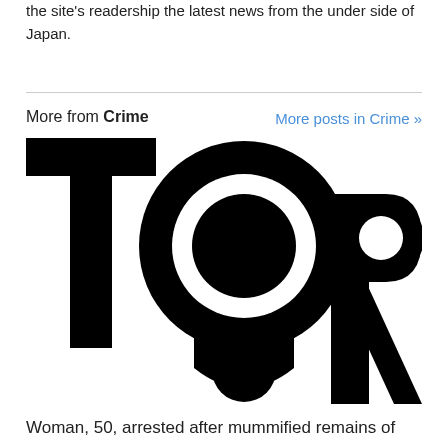the site's readership the latest news from the under side of Japan.
More from Crime
More posts in Crime »
[Figure (logo): TOR logo — large bold letters T, O, R in black with circular graphic element forming the O]
Woman, 50, arrested after mummified remains of